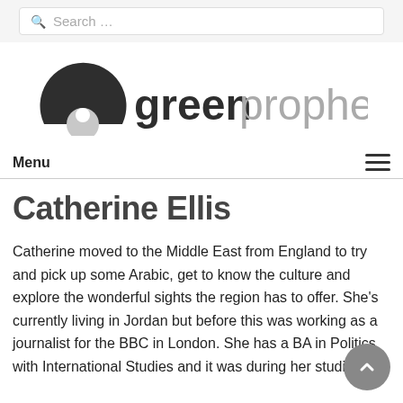Search …
[Figure (logo): Green Prophet logo — stylized dark semicircle/arc with white circle forming a face-like icon, followed by the text 'greenprophet' in dark and grey sans-serif]
Menu
Catherine Ellis
Catherine moved to the Middle East from England to try and pick up some Arabic, get to know the culture and explore the wonderful sights the region has to offer. She's currently living in Jordan but before this was working as a journalist for the BBC in London. She has a BA in Politics with International Studies and it was during her studies